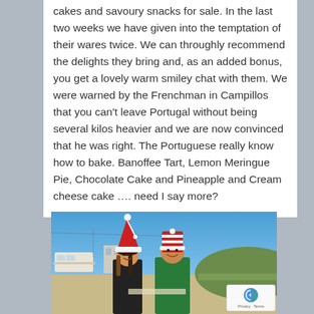cakes and savoury snacks for sale. In the last two weeks we have given into the temptation of their wares twice. We can throughly recommend the delights they bring and, as an added bonus, you get a lovely warm smiley chat with them. We were warned by the Frenchman in Campillos that you can't leave Portugal without being several kilos heavier and we are now convinced that he was right. The Portuguese really know how to bake. Banoffee Tart, Lemon Meringue Pie, Chocolate Cake and Pineapple and Cream cheese cake …. need I say more?
[Figure (photo): Two people wearing Christmas/Santa hats standing outdoors at what appears to be a campsite or parking area. A woman on the left in a black top with a red Santa hat, and a man on the right in a green shirt with a red and white striped hat. Blue sky and green hills visible in background with caravans/RVs on the left.]